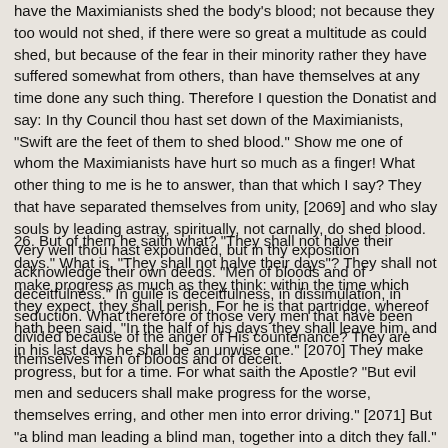have the Maximianists shed the body's blood; not because they too would not shed, if there were so great a multitude as could shed, but because of the fear in their minority rather they have suffered somewhat from others, than have themselves at any time done any such thing. Therefore I question the Donatist and say: In thy Council thou hast set down of the Maximianists, "Swift are the feet of them to shed blood." Show me one of whom the Maximianists have hurt so much as a finger! What other thing to me is he to answer, than that which I say? They that have separated themselves from unity, [2069] and who slay souls by leading astray, spiritually, not carnally, do shed blood. Very well thou hast expounded, but in thy exposition acknowledge their own deeds. "Men of bloods and of deceitfulness." In guile is deceitfulness, in dissimulation, in seduction. What therefore of those very men that have been divided because of the anger of His countenance? They are themselves men of bloods and of deceit.
26. But of them he saith what? "They shall not halve their days." What is, "They shall not halve their days"? They shall not make progress as much as they think: within the time which they expect, they shall perish. For he is that partridge, whereof hath been said, "In the half of his days they shall leave him, and in his last days he shall be an unwise one." [2070] They make progress, but for a time. For what saith the Apostle? "But evil men and seducers shall make progress for the worse, themselves erring, and other men into error driving." [2071] But "a blind man leading a blind man, together into a ditch they fall." [2072] Deservedly they fall "into the pit of corruption." What therefore saith he? They shall make progress for the worse: not however for long. For a little before he hath said, "But further they